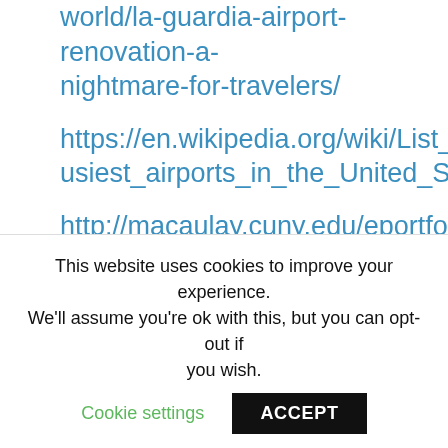world/la-guardia-airport-renovation-a-nightmare-for-travelers/
https://en.wikipedia.org/wiki/List_of_the_busiest_airports_in_the_United_States
http://macaulay.cuny.edu/eportfolios/brooks12/2012/04/16/now-and-then-laguardia-airport/
http://www.nytimes.com/2015/08/14/opinio
This website uses cookies to improve your experience. We'll assume you're ok with this, but you can opt-out if you wish.
Cookie settings
ACCEPT